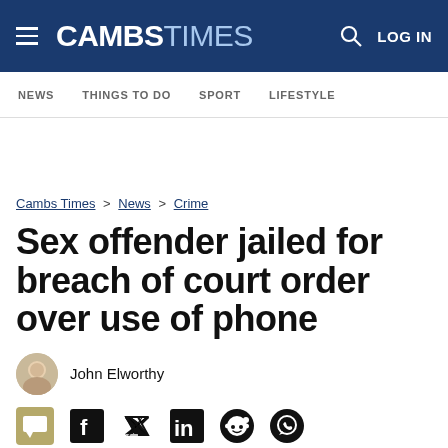CAMBS TIMES — LOG IN
NEWS   THINGS TO DO   SPORT   LIFESTYLE
Cambs Times > News > Crime
Sex offender jailed for breach of court order over use of phone
John Elworthy